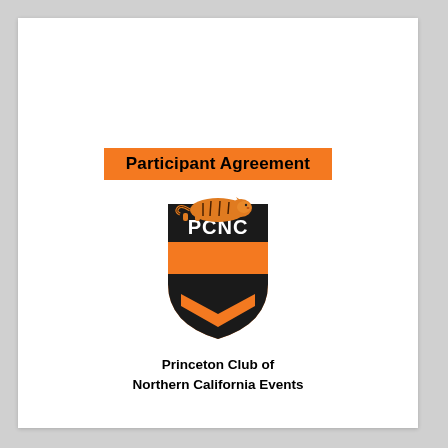Participant Agreement
[Figure (logo): PCNC shield logo with a reclining tiger on top. Shield is orange and black with chevron design and 'PCNC' text in white.]
Princeton Club of Northern California Events